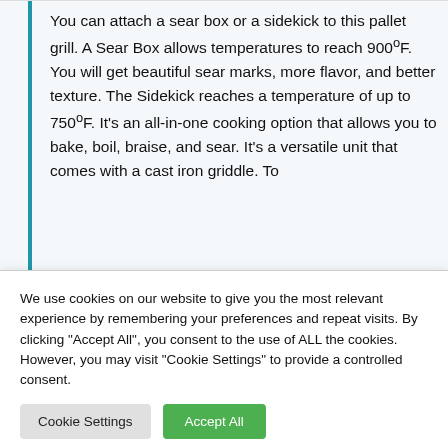You can attach a sear box or a sidekick to this pallet grill. A Sear Box allows temperatures to reach 900°F. You will get beautiful sear marks, more flavor, and better texture. The Sidekick reaches a temperature of up to 750°F. It's an all-in-one cooking option that allows you to bake, boil, braise, and sear. It's a versatile unit that comes with a cast iron griddle. To
We use cookies on our website to give you the most relevant experience by remembering your preferences and repeat visits. By clicking "Accept All", you consent to the use of ALL the cookies. However, you may visit "Cookie Settings" to provide a controlled consent.